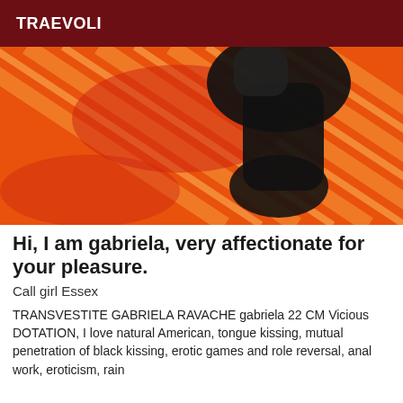TRAEVOLI
[Figure (photo): Close-up photo of legs wearing black stockings/boots resting on an orange and red striped fabric surface]
Hi, I am gabriela, very affectionate for your pleasure.
Call girl Essex
TRANSVESTITE GABRIELA RAVACHE gabriela 22 CM Vicious DOTATION, I love natural American, tongue kissing, mutual penetration of black kissing, erotic games and role reversal, anal work, eroticism, rain